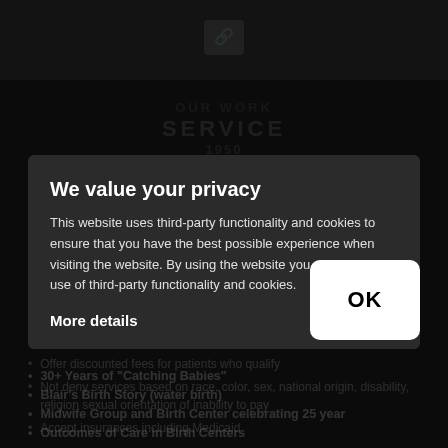[Figure (screenshot): Dark-themed website background with dimmed content showing a National Health Service type page with logo, service headings, and bullet list items partially visible behind a privacy consent modal overlay.]
We value your privacy
This website uses third-party functionality and cookies to ensure that you have the best possible experience when visiting the website. By using the website you agree to our use of third-party functionality and cookies.
More details
OK